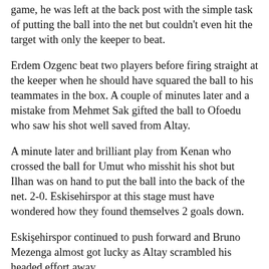game, he was left at the back post with the simple task of putting the ball into the net but couldn't even hit the target with only the keeper to beat.
Erdem Ozgenc beat two players before firing straight at the keeper when he should have squared the ball to his teammates in the box. A couple of minutes later and a mistake from Mehmet Sak gifted the ball to Ofoedu who saw his shot well saved from Altay.
A minute later and brilliant play from Kenan who crossed the ball for Umut who misshit his shot but Ilhan was on hand to put the ball into the back of the net. 2-0. Eskisehirspor at this stage must have wondered how they found themselves 2 goals down.
Eskişehirspor continued to push forward and Bruno Mezenga almost got lucky as Altay scrambled his headed effort away.
Altay Bayindir has a big future ahead of him and he showed why with an excellent save from a thunderous Hasan Aueroglu effort from 25 yards. At the other end Kenan put